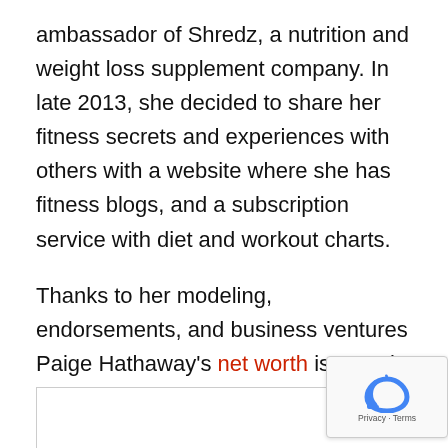ambassador of Shredz, a nutrition and weight loss supplement company. In late 2013, she decided to share her fitness secrets and experiences with others with a website where she has fitness blogs, and a subscription service with diet and workout charts.
Thanks to her modeling, endorsements, and business ventures Paige Hathaway's net worth is a cool $5.5 million and growing.
Cause of Envy